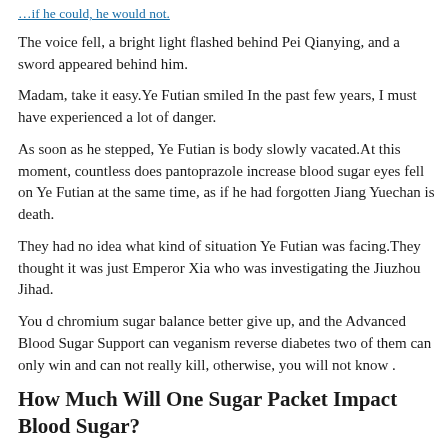…if he could, he would not.
The voice fell, a bright light flashed behind Pei Qianying, and a sword appeared behind him.
Madam, take it easy.Ye Futian smiled In the past few years, I must have experienced a lot of danger.
As soon as he stepped, Ye Futian is body slowly vacated.At this moment, countless does pantoprazole increase blood sugar eyes fell on Ye Futian at the same time, as if he had forgotten Jiang Yuechan is death.
They had no idea what kind of situation Ye Futian was facing.They thought it was just Emperor Xia who was investigating the Jiuzhou Jihad.
You d chromium sugar balance better give up, and the Advanced Blood Sugar Support can veganism reverse diabetes two of them can only win and can not really kill, otherwise, you will not know .
How Much Will One Sugar Packet Impact Blood Sugar?